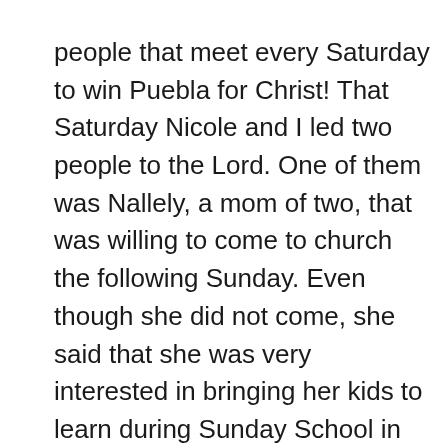people that meet every Saturday to win Puebla for Christ! That Saturday Nicole and I led two people to the Lord. One of them was Nallely, a mom of two, that was willing to come to church the following Sunday. Even though she did not come, she said that she was very interested in bringing her kids to learn during Sunday School in our church. Please pray for her that she one day will come to church.
We are just very excited to be back, with lots of ideas and plans for the church. This will be an exciting year for our church and I pray that God will give us wisdom to lead the church in the way that He wants us to go. Pray for us as we put all of our plans and ideas into action. Thank you again